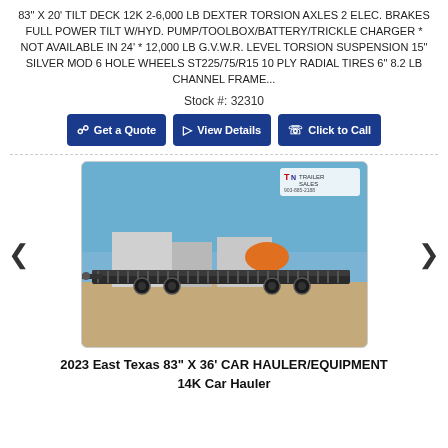83" X 20' TILT DECK 12K 2-6,000 LB DEXTER TORSION AXLES 2 ELEC. BRAKES FULL POWER TILT W/HYD. PUMP/TOOLBOX/BATTERY/TRICKLE CHARGER * NOT AVAILABLE IN 24' * 12,000 LB G.V.W.R. LEVEL TORSION SUSPENSION 15" SILVER MOD 6 HOLE WHEELS ST225/75/R15 10 PLY RADIAL TIRES 6" 8.2 LB CHANNEL FRAME...
Stock #: 32310
[Figure (screenshot): Three blue call-to-action buttons: 'Get a Quote', 'View Details', 'Click to Call']
[Figure (photo): Photo of a long flatbed car hauler/equipment trailer parked in a dirt lot with buildings and orange machinery in the background. TN Trailer Sales logo visible in top right corner of photo.]
2023 East Texas 83" X 36' CAR HAULER/EQUIPMENT 14K Car Hauler